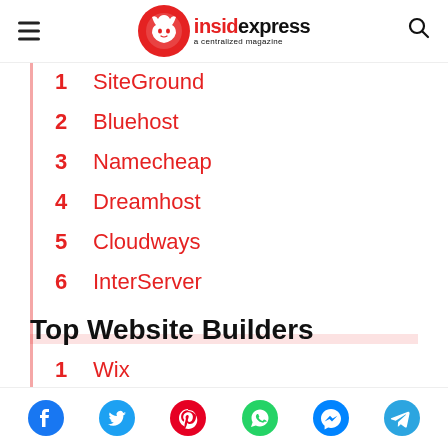insidexpress - a centralized magazine
1  SiteGround
2  Bluehost
3  Namecheap
4  Dreamhost
5  Cloudways
6  InterServer
Top Website Builders
1  Wix
2  Ucraft
3  Strikingly
Social share icons: Facebook, Twitter, Pinterest, WhatsApp, Messenger, Telegram